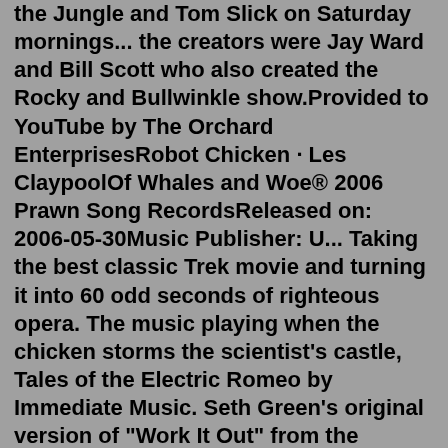the Jungle and Tom Slick on Saturday mornings... the creators were Jay Ward and Bill Scott who also created the Rocky and Bullwinkle show.Provided to YouTube by The Orchard EnterprisesRobot Chicken · Les ClaypoolOf Whales and Woe® 2006 Prawn Song RecordsReleased on: 2006-05-30Music Publisher: U... Taking the best classic Trek movie and turning it into 60 odd seconds of righteous opera. The music playing when the chicken storms the scientist's castle, Tales of the Electric Romeo by Immediate Music. Seth Green's original version of "Work It Out" from the "Voltron Gets Served" sketch. Jan 28, 2018 · The great fact is the episodes are so incredibly random, yet they still happen to pull through and manage to be completely hilarious, without losing the viewers attention because of the entire random factor Show : Robot Chicken Season number : 9 Episode number : 6 Genre : Comedy, Animation Air Date : 2018-01-21 Network : Adult Swim Casts ... Midway through the opening sequence, the titular chicken turns his laser